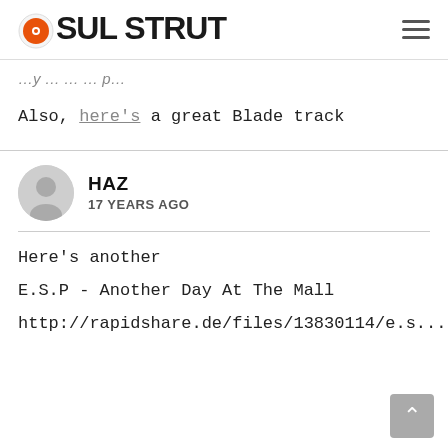SOUL STRUT
Also, here's a great Blade track
HAZ
17 YEARS AGO
Here's another
E.S.P - Another Day At The Mall
http://rapidshare.de/files/13830114/e.s....e_mall.m